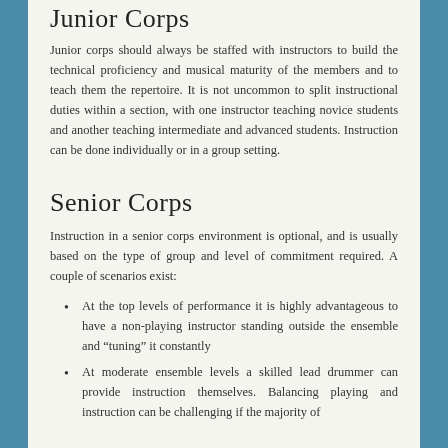Junior Corps
Junior corps should always be staffed with instructors to build the technical proficiency and musical maturity of the members and to teach them the repertoire. It is not uncommon to split instructional duties within a section, with one instructor teaching novice students and another teaching intermediate and advanced students. Instruction can be done individually or in a group setting.
Senior Corps
Instruction in a senior corps environment is optional, and is usually based on the type of group and level of commitment required. A couple of scenarios exist:
At the top levels of performance it is highly advantageous to have a non-playing instructor standing outside the ensemble and “tuning” it constantly
At moderate ensemble levels a skilled lead drummer can provide instruction themselves. Balancing playing and instruction can be challenging if the majority of